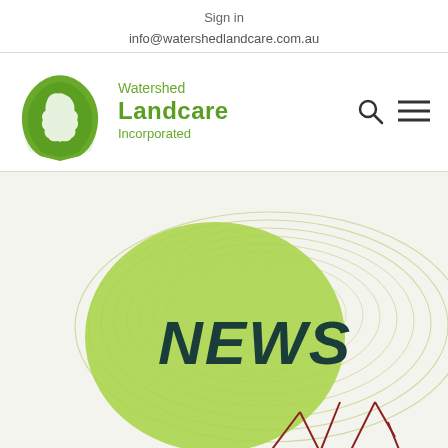Sign in
info@watershedlandcare.com.au
[Figure (logo): Watershed Landcare Incorporated logo — green hands cupping Australia map silhouette, with text 'Watershed Landcare Incorporated']
[Figure (illustration): NEWS graphic — light green blob/circle with 'NEWS' text in dark teal bold font, surrounded by concentric oval line swirls in pale olive/green, with abstract geometric red/maroon line shapes at bottom]